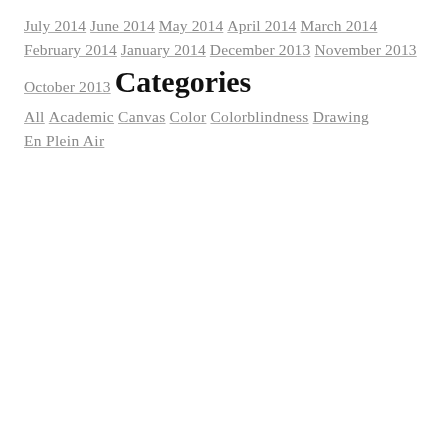July 2014
June 2014
May 2014
April 2014
March 2014
February 2014
January 2014
December 2013
November 2013
October 2013
Categories
All
Academic
Canvas
Color
Colorblindness
Drawing
En Plein Air